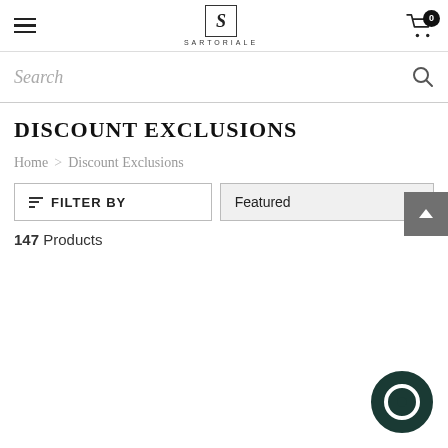SARTORIALE — navigation header with hamburger menu, logo, and cart (0 items)
Search
DISCOUNT EXCLUSIONS
Home > Discount Exclusions
FILTER BY | Featured
147 Products